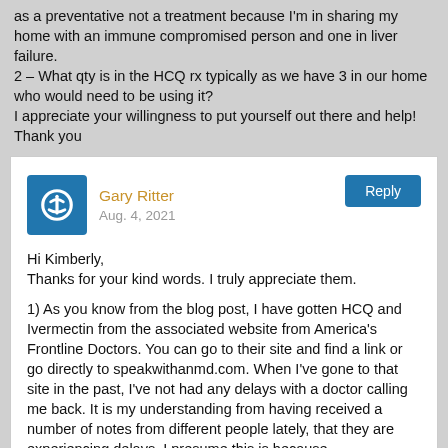as a preventative not a treatment because I'm in sharing my home with an immune compromised person and one in liver failure. 2 – What qty is in the HCQ rx typically as we have 3 in our home who would need to be using it? I appreciate your willingness to put yourself out there and help! Thank you
Gary Ritter
Aug. 4, 2021
Hi Kimberly,
Thanks for your kind words. I truly appreciate them.

1) As you know from the blog post, I have gotten HCQ and Ivermectin from the associated website from America's Frontline Doctors. You can go to their site and find a link or go directly to speakwithanmd.com. When I've gone to that site in the past, I've not had any delays with a doctor calling me back. It is my understanding from having received a number of notes from different people lately, that they are experiencing delays. I presume this is because speakwithanmd is swamped by requests and they're just backlogged.